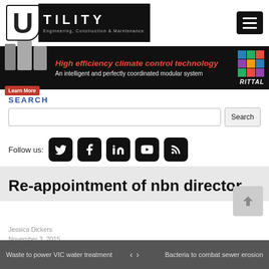[Figure (logo): Utility Magazine logo — large U in white box, 'TILITY' in white on black background, subtitle 'Engineering, Construction & Maintenance']
[Figure (screenshot): Hamburger menu button, black rounded rectangle with three white horizontal lines]
[Figure (screenshot): Advertisement banner for Rittal: 'High efficiency climate control technology — An intelligent and perfectly coordinated modular system' with Learn More button and Rittal logo]
SEARCH
[Figure (screenshot): Search input field with Search button]
Follow us:
[Figure (screenshot): Social media icons: Twitter, Facebook, LinkedIn, YouTube, RSS]
Re-appointment of nbn director
Jessica Dickers
November 3, 2015
Waste to power VIC water treatment  <  >  Bacteria to combat sewer erosion